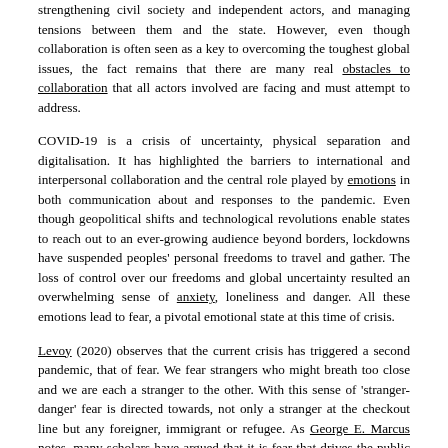strengthening civil society and independent actors, and managing tensions between them and the state. However, even though collaboration is often seen as a key to overcoming the toughest global issues, the fact remains that there are many real obstacles to collaboration that all actors involved are facing and must attempt to address.
COVID-19 is a crisis of uncertainty, physical separation and digitalisation. It has highlighted the barriers to international and interpersonal collaboration and the central role played by emotions in both communication about and responses to the pandemic. Even though geopolitical shifts and technological revolutions enable states to reach out to an ever-growing audience beyond borders, lockdowns have suspended peoples' personal freedoms to travel and gather. The loss of control over our freedoms and global uncertainty resulted an overwhelming sense of anxiety, loneliness and danger. All these emotions lead to fear, a pivotal emotional state at this time of crisis.
Levoy (2020) observes that the current crisis has triggered a second pandemic, that of fear. We fear strangers who might breath too close and we are each a stranger to the other. With this sense of 'stranger-danger' fear is directed towards, not only a stranger at the checkout line but any foreigner, immigrant or refugee. As George E. Marcus notes, many scholars have argued that it is fear that drives the public towards nationalism and often xenophobia. What he adds, is a perspective of the theory of affective intelligence, that recognises anger as a fundamental motivation for nationalism. Anger – is a result of any excessive feeling of fear, or distress. So, with the terrifying spread of